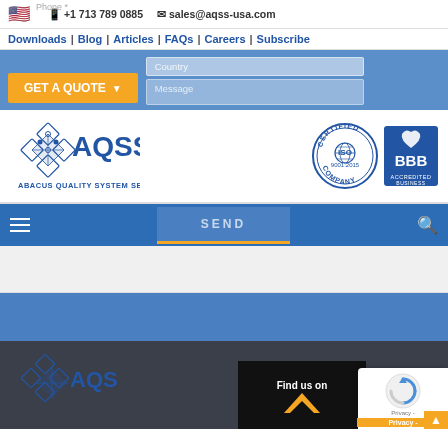Phone | +1 713 789 0885 | sales@aqss-usa.com
Downloads | Blog | Articles | FAQs | Careers | Subscribe
[Figure (logo): AQSS - Abacus Quality System Services Inc. logo with puzzle piece diamond icon, ISO 9001:2015 Certified Company badge, and BBB Accredited Business logo]
[Figure (screenshot): Blue navigation bar with hamburger menu, SEND button, and search icon. White content strip below, then blue background section.]
[Figure (screenshot): Dark footer area with AQSS logo bottom, 'Find us on' section with house icon, reCAPTCHA widget, Privacy button, and scroll-to-top arrow]